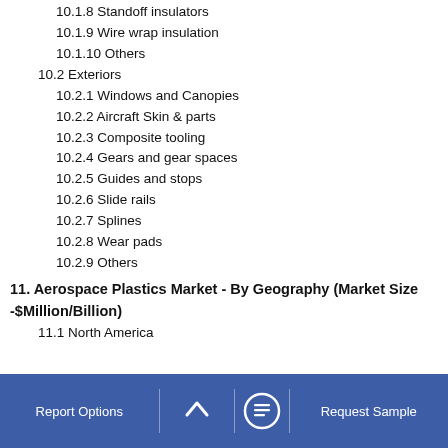10.1.8 Standoff insulators
10.1.9 Wire wrap insulation
10.1.10 Others
10.2 Exteriors
10.2.1 Windows and Canopies
10.2.2 Aircraft Skin & parts
10.2.3 Composite tooling
10.2.4 Gears and gear spaces
10.2.5 Guides and stops
10.2.6 Slide rails
10.2.7 Splines
10.2.8 Wear pads
10.2.9 Others
11. Aerospace Plastics Market - By Geography (Market Size -$Million/Billion)
11.1 North America
Report Options   ^   Request Sample